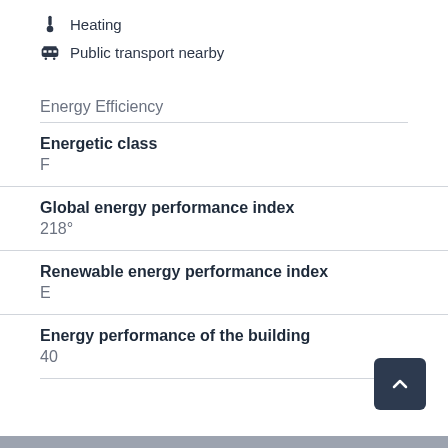Heating
Public transport nearby
Energy Efficiency
Energetic class
F
Global energy performance index
218°
Renewable energy performance index
E
Energy performance of the building
40